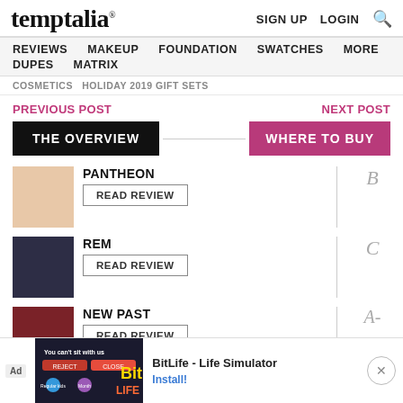temptalia® | SIGN UP  LOGIN  🔍
REVIEWS  MAKEUP  FOUNDATION  SWATCHES  MORE  DUPES  MATRIX
COSMETICS  HOLIDAY 2019 GIFT SETS
PREVIOUS POST    NEXT POST
THE OVERVIEW
WHERE TO BUY
[Figure (photo): Peach/nude swatch box for PANTHEON]
PANTHEON
READ REVIEW
Grade: B
[Figure (photo): Dark navy/black glitter swatch box for REM]
REM
READ REVIEW
Grade: C
[Figure (photo): Dark burgundy/maroon swatch box for NEW PAST]
NEW PAST
READ REVIEW
Grade: A-
[Figure (screenshot): Ad banner: BitLife - Life Simulator game ad with Install button]